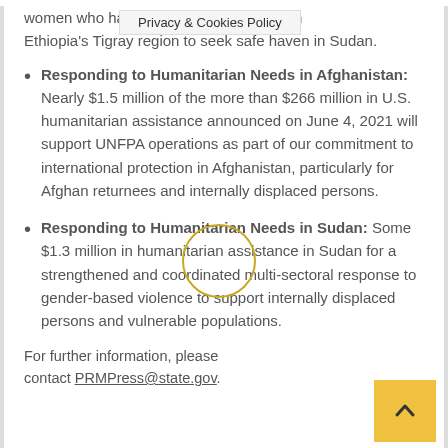women who have fle…bility in Ethiopia’s Tigray region to seek safe haven in Sudan.
[Figure (other): Privacy & Cookies Policy banner overlay]
Responding to Humanitarian Needs in Afghanistan: Nearly $1.5 million of the more than $266 million in U.S. humanitarian assistance announced on June 4, 2021 will support UNFPA operations as part of our commitment to international protection in Afghanistan, particularly for Afghan returnees and internally displaced persons.
Responding to Humanitarian Needs in Sudan: Some $1.3 million in humanitarian assistance in Sudan for a strengthened and coordinated multi-sectoral response to gender-based violence to support internally displaced persons and vulnerable populations.
For further information, please contact PRMPress@state.gov.